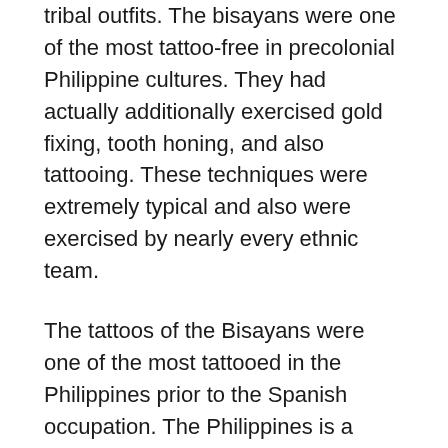tribal outfits. The bisayans were one of the most tattoo-free in precolonial Philippine cultures. They had actually additionally exercised gold fixing, tooth honing, and also tattooing. These techniques were extremely typical and also were exercised by nearly every ethnic team.
The tattoos of the Bisayans were one of the most tattooed in the Philippines prior to the Spanish occupation. The Philippines is a nation with abundant background as well as varied society. The Bisayans were one of the most tattooes of all the pre-colonial Filipinos. A lot of them have a mostly Indigenous society, and also their society is rooted in their ideas as well as routines.
The bisayans have actually been one of the most tattooed individuals in pre-colonial Philippine background. In a research study released in Dalumat Ejournal, Lorenz